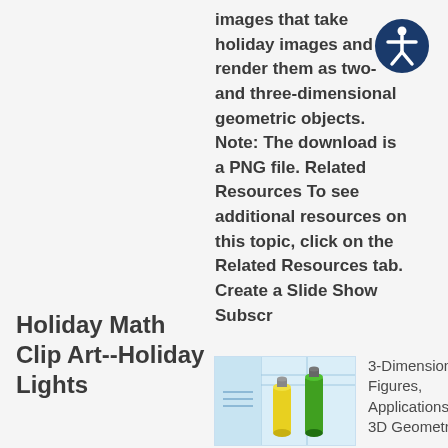[Figure (logo): Accessibility icon — circular dark blue border with a white human figure in the center, arms and legs extended]
Holiday Math Clip Art--Holiday Lights
Math clip art images that take holiday images and render them as two- and three-dimensional geometric objects. Note: The download is a PNG file. Related Resources To see additional resources on this topic, click on the Related Resources tab. Create a Slide Show Subscr
[Figure (illustration): Thumbnail image showing a bar chart or 3D geometry illustration with yellow and green cylinder/bar shapes on a light blue background]
3-Dimensional Figures, Applications of 3D Geometry